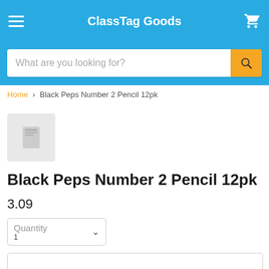ClassTag Goods
What are you looking for?
Home › Black Peps Number 2 Pencil 12pk
[Figure (illustration): Small product image placeholder with a pencil icon in light gray]
Black Peps Number 2 Pencil 12pk
3.09
Quantity